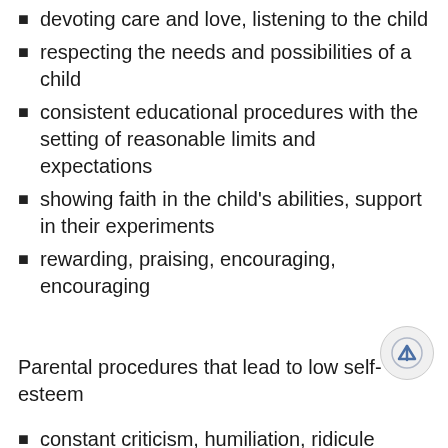devoting care and love, listening to the child
respecting the needs and possibilities of a child
consistent educational procedures with the setting of reasonable limits and expectations
showing faith in the child's abilities, support in their experiments
rewarding, praising, encouraging, encouraging
Parental procedures that lead to low self-esteem
constant criticism, humiliation, ridicule
if the child is constantly changing, or physically punished,
if the child is ignored, if he is ignored,